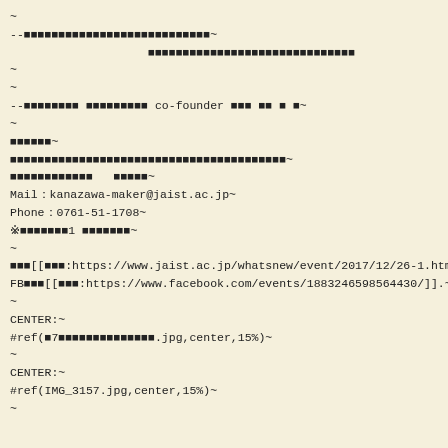~
--■■■■■■■■■■■■■■■■■■■■■■■■■■■~
                    ■■■■■■■■■■■■■■■■■■■■■■■■■■■■■■
~
~
--■■■■■■■■ ■■■■■■■■■ co-founder ■■■ ■■ ■ ■~
~
■■■■■■~
■■■■■■■■■■■■■■■■■■■■■■■■■■■■■■■■■■■■■■■■~
■■■■■■■■■■■■   ■■■■■~
Mail：kanazawa-maker@jaist.ac.jp~
Phone：0761-51-1708~
※■■■■■■■1 ■■■■■■■~
~
■■■[[■■■:https://www.jaist.ac.jp/whatsnew/event/2017/12/26-1.html]].~
FB■■■[[■■■:https://www.facebook.com/events/1883246598564430/]].~
~
CENTER:~
#ref(■7■■■■■■■■■■■■■■.jpg,center,15%)~
~
CENTER:~
#ref(IMG_3157.jpg,center,15%)~
~